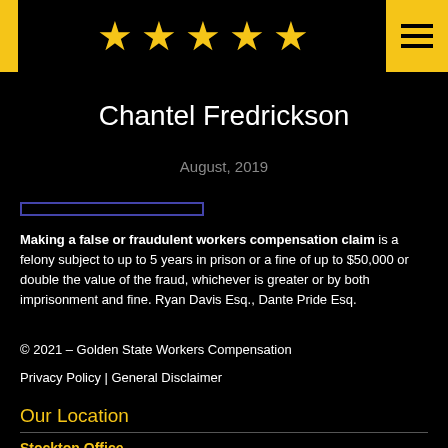[Figure (illustration): Five yellow star rating icons displayed horizontally in a black top banner with yellow left accent bar and yellow hamburger menu button on the right]
Chantel Fredrickson
August, 2019
Making a false or fraudulent workers compensation claim is a felony subject to up to 5 years in prison or a fine of up to $50,000 or double the value of the fraud, whichever is greater or by both imprisonment and fine. Ryan Davis Esq., Dante Pride Esq.
© 2021 – Golden State Workers Compensation
Privacy Policy | General Disclaimer
Our Location
Stockton Office